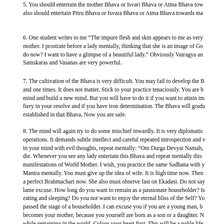5. You should entertain the mother Bhava or Isvari Bhava or Atma Bhava tow... also should entertain Pitru Bhava or Isvara Bhava or Atma Bhava towards ma...
6. One student writes to me “The impure flesh and skin appears to me as very... mother. I prostrate before a lady mentally, thinking that she is an image of Go... do now? I want to have a glimpse of a beautiful lady.” Obviously Vairagya an... Samskaras and Vasanas are very powerful.
7. The cultivation of the Bhava is very difficult. You may fail to develop the B... and one times. It does not matter. Stick to your practice tenaciously. You are b... mind and build a new mind. But you will have to do it if you want to attain im... fiery in your resolve and if you have iron determination. The Bhava will gradu... established in that Bhava. Now you are safe.
8. The mind will again try to do some mischief inwardly. It is very diplomatic... operations. It demands subtle intellect and careful repeated introspection and v... in your mind with evil thoughts, repeat mentally: “Om Durga Devyai Namah,... die. Whenever you see any lady entertain this Bhava and repeat mentally this... manifestations of World Mother. I wish, you practice the same Sadhana with y... Mantra mentally. You must give up the idea of wife. It is high time now. Then... a perfect Brahmachari now. She also must observe fast on Ekadasi. Do not say... lame excuse. How long do you want to remain as a passionate householder? Is... eating and sleeping? Do you not want to enjoy the eternal bliss of the Self? Yo... passed the stage of a householder. I can excuse you if you are a young man, b... becomes your mother, because you yourself are born as a son or a daughter. N... while remaining in the world. Colour your heart first. This will be a noble life... mental non-attachment. Real Sannyasa is destruction of Vasanas, ‘I-ness,’ ‘mi... property. You need not retire into the Himalayan caves. Attain the above state... peace and aplenty. Be in the world, but be out of the world. Give up worldli...